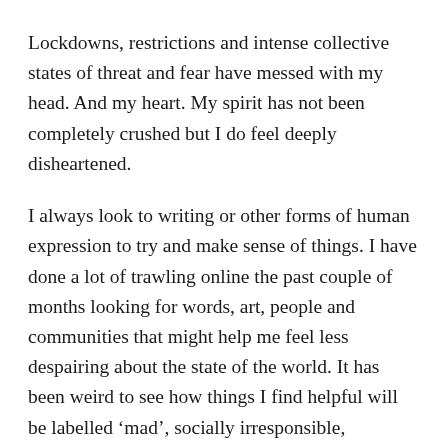Lockdowns, restrictions and intense collective states of threat and fear have messed with my head. And my heart. My spirit has not been completely crushed but I do feel deeply disheartened.
I always look to writing or other forms of human expression to try and make sense of things. I have done a lot of trawling online the past couple of months looking for words, art, people and communities that might help me feel less despairing about the state of the world. It has been weird to see how things I find helpful will be labelled ‘mad’, socially irresponsible, misinformation or dissenting.